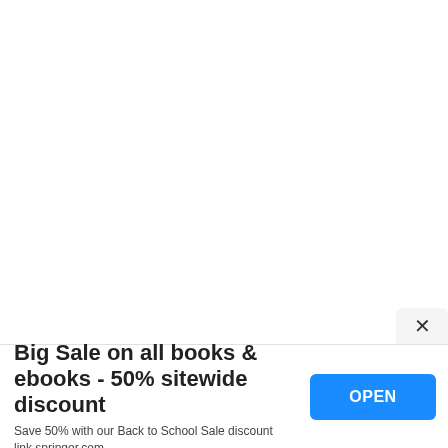Big Sale on all books & ebooks - 50% sitewide discount
Save 50% with our Back to School Sale discount link.springer.com
OPEN